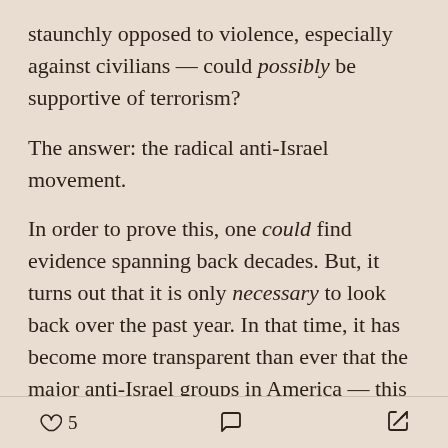staunchly opposed to violence, especially against civilians — could possibly be supportive of terrorism?
The answer: the radical anti-Israel movement.
In order to prove this, one could find evidence spanning back decades. But, it turns out that it is only necessary to look back over the past year. In that time, it has become more transparent than ever that the major anti-Israel groups in America — this includes groups such as Students for Justice in Palestine, Jewish Voice for Peace, BDS, and Within our Lifetime — simply use the language of human rights as
5